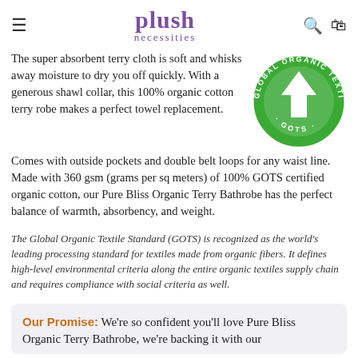plush necessities
The super absorbent terry cloth is soft and whisks away moisture to dry you off quickly. With a generous shawl collar, this 100% organic cotton terry robe makes a perfect towel replacement. Comes with outside pockets and double belt loops for any waist line. Made with 360 gsm (grams per sq meters) of 100% GOTS certified organic cotton, our Pure Bliss Organic Terry Bathrobe has the perfect balance of warmth, absorbency, and weight.
[Figure (logo): Global Organic Textile Standard (GOTS) circular green logo with white arrow upward symbol]
The Global Organic Textile Standard (GOTS) is recognized as the world's leading processing standard for textiles made from organic fibers. It defines high-level environmental criteria along the entire organic textiles supply chain and requires compliance with social criteria as well.
Our Promise: We're so confident you'll love Pure Bliss Organic Terry Bathrobe, we're backing it with our